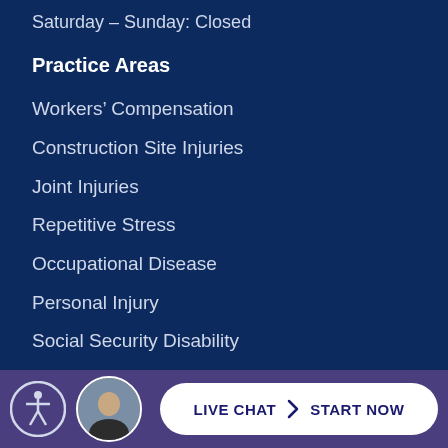Saturday – Sunday: Closed
Practice Areas
Workers' Compensation
Construction Site Injuries
Joint Injuries
Repetitive Stress
Occupational Disease
Personal Injury
Social Security Disability
Media
Videos
LIVE CHAT  START NOW